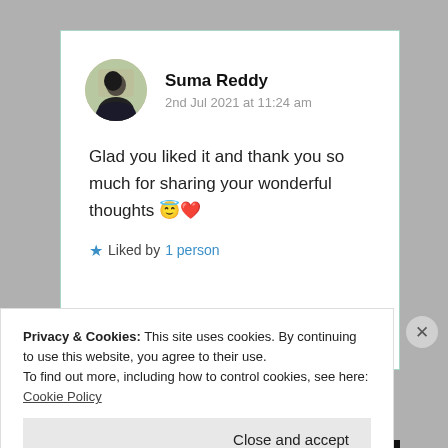Suma Reddy
2nd Jul 2021 at 11:24 am
Glad you liked it and thank you so much for sharing your wonderful thoughts 😇❤️
★ Liked by 1 person
Privacy & Cookies: This site uses cookies. By continuing to use this website, you agree to their use.
To find out more, including how to control cookies, see here: Cookie Policy
Close and accept